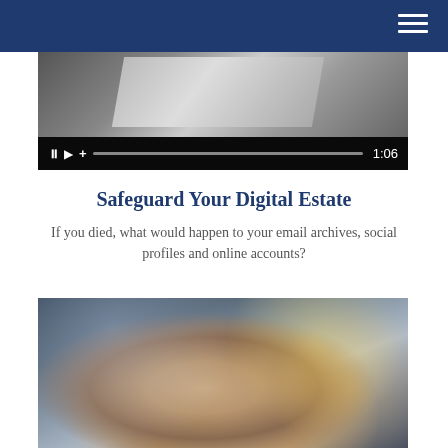[Figure (screenshot): Video player showing a laptop image with playback controls at bottom: pause, play, plus icons, progress bar, and time display showing 1:06]
Safeguard Your Digital Estate
If you died, what would happen to your email archives, social profiles and online accounts?
[Figure (photo): Close-up photo of a woman looking through glass in a store or urban environment, bokeh background with lights]